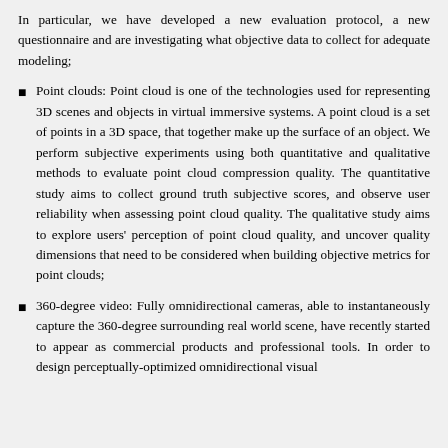In particular, we have developed a new evaluation protocol, a new questionnaire and are investigating what objective data to collect for adequate modeling;
Point clouds: Point cloud is one of the technologies used for representing 3D scenes and objects in virtual immersive systems. A point cloud is a set of points in a 3D space, that together make up the surface of an object. We perform subjective experiments using both quantitative and qualitative methods to evaluate point cloud compression quality. The quantitative study aims to collect ground truth subjective scores, and observe user reliability when assessing point cloud quality. The qualitative study aims to explore users' perception of point cloud quality, and uncover quality dimensions that need to be considered when building objective metrics for point clouds;
360-degree video: Fully omnidirectional cameras, able to instantaneously capture the 360-degree surrounding real world scene, have recently started to appear as commercial products and professional tools. In order to design perceptually-optimized omnidirectional visual